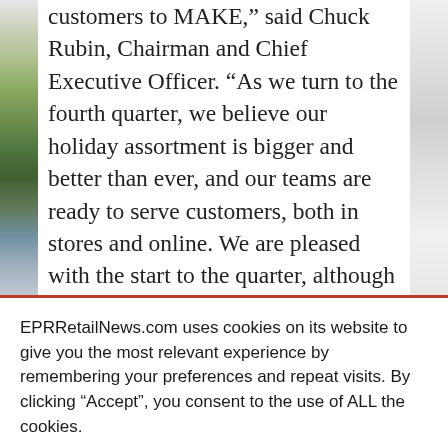customers to MAKE,” said Chuck Rubin, Chairman and Chief Executive Officer. “As we turn to the fourth quarter, we believe our holiday assortment is bigger and better than ever, and our teams are ready to serve customers, both in stores and online. We are pleased with the start to the quarter, although we recognize the heart of the season still lies ahead. We are excited about our plans, and we are confident the investments...
EPRRetailNews.com uses cookies on its website to give you the most relevant experience by remembering your preferences and repeat visits. By clicking “Accept”, you consent to the use of ALL the cookies.
Cookie settings
ACCEPT